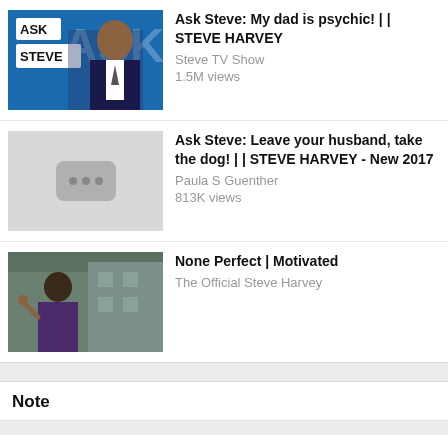[Figure (screenshot): YouTube-style video list with three video items: 1) Ask Steve: My dad is psychic! || STEVE HARVEY by Steve TV Show 1.5M views, 2) Ask Steve: Leave your husband, take the dog! || STEVE HARVEY - New 2017 by Paula S Guenther 813K views, 3) None Perfect | Motivated by The Official Steve Harvey]
Note
Please note that this website is currently a work in progress! Lots of interesting data and statistics to come.